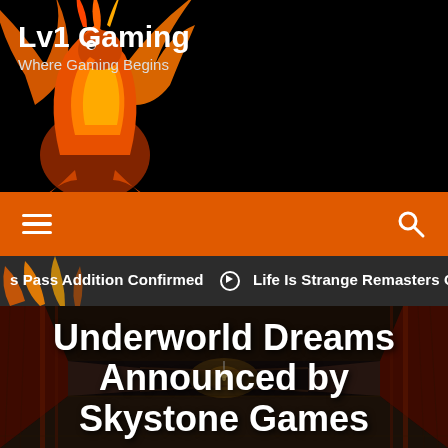Lvl Gaming — Where Gaming Begins
[Figure (logo): Lvl Gaming logo with phoenix illustration on black background]
[Figure (infographic): Orange navigation bar with hamburger menu and search icon]
Pass Addition Confirmed  ⊙ Life Is Strange Remasters Ge
[Figure (photo): Dark moody hallway from Underworld Dreams game]
Underworld Dreams Announced by Skystone Games